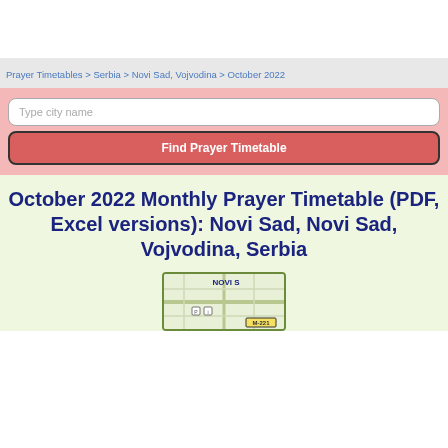Prayer Timetables > Serbia > Novi Sad, Vojvodina > October 2022
Type city name
Find Prayer Timetable
October 2022 Monthly Prayer Timetable (PDF, Excel versions): Novi Sad, Novi Sad, Vojvodina, Serbia
[Figure (map): Map showing Novi Sad location with street grid and road marker M-221]